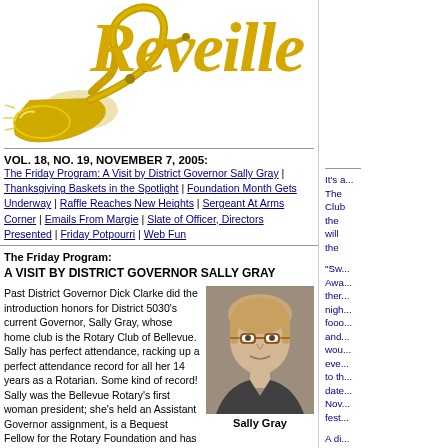[Figure (illustration): Bugle instrument graphic with the word 'Reveille' in large italic gold text]
VOL. 18, NO. 19, NOVEMBER 7, 2005: The Friday Program: A Visit by District Governor Sally Gray | Thanksgiving Baskets in the Spotlight | Foundation Month Gets Underway | Raffle Reaches New Heights | Sergeant At Arms Corner | Emails From Margie | Slate of Officer, Directors Presented | Friday Potpourri | Web Fun
The Friday Program:
A VISIT BY DISTRICT GOVERNOR SALLY GRAY
Past District Governor Dick Clarke did the introduction honors for District 5030's current Governor, Sally Gray, whose home club is the Rotary Club of Bellevue. Sally has perfect attendance, racking up a perfect attendance record for all her 14 years as a Rotarian. Some kind of record! Sally was the Bellevue Rotary's first woman president; she's held an Assistant Governor assignment, is a Bequest Fellow for the Rotary Foundation and has a classification of Stock Broker.
Sally Gray
A tradition in the District is an annual visit by the Governor to bring each club's membership up-to-date on happenings at the District level. Sally is the Governor of one of 529 Districts worldwide. She opened her remarks by saying that "this is the first year of Rotary's second century ... an opportunity for new achievements."
It's a...The Club the will the
"Sw... Awa... ther... nigh... fooo... and... wou... eve... to th... date... Nov... fest...
A di... veg... hav... you... eleg... in c... Sun...